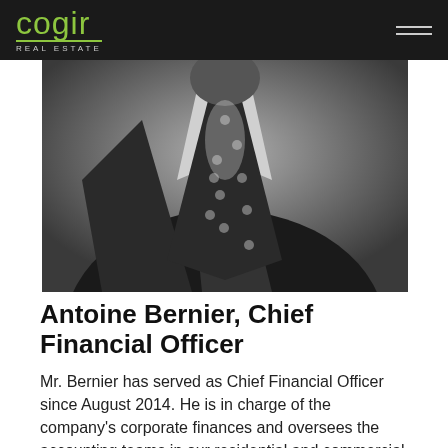cogir REAL ESTATE
[Figure (photo): Black and white close-up photo of a man in a dark suit with a polka-dot tie]
Antoine Bernier, Chief Financial Officer
Mr. Bernier has served as Chief Financial Officer since August 2014. He is in charge of the company's corporate finances and oversees the accounting teams in our residential and commercial divisions.